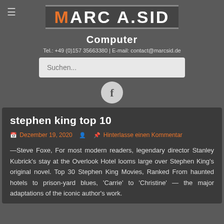MARC A.SID
Computer
Tel.: +49 (0)157 35663380 | E-mail: contact@marcsid.de
stephen king top 10
Dezember 19, 2020  Hinterlasse einen Kommentar
—Steve Foxe, For most modern readers, legendary director Stanley Kubrick's stay at the Overlook Hotel looms large over Stephen King's original novel. Top 30 Stephen King Movies, Ranked From haunted hotels to prison-yard blues, 'Carrie' to 'Christine' — the major adaptations of the iconic author's work.